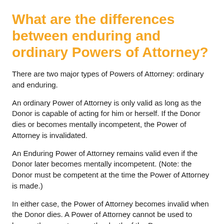What are the differences between enduring and ordinary Powers of Attorney?
There are two major types of Powers of Attorney: ordinary and enduring.
An ordinary Power of Attorney is only valid as long as the Donor is capable of acting for him or herself. If the Donor dies or becomes mentally incompetent, the Power of Attorney is invalidated.
An Enduring Power of Attorney remains valid even if the Donor later becomes mentally incompetent. (Note: the Donor must be competent at the time the Power of Attorney is made.)
In either case, the Power of Attorney becomes invalid when the Donor dies. A Power of Attorney cannot be used to bequeath property upon the death of the Donor.